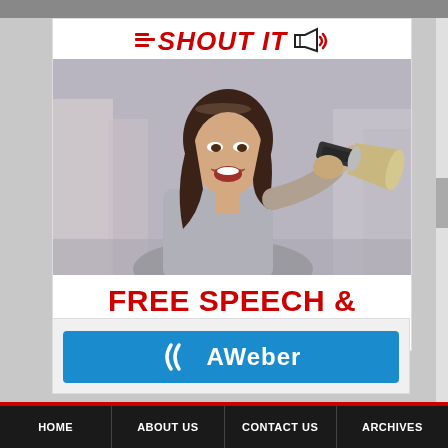[Figure (logo): ShoutIt logo with red lines and megaphone icon, text reading =SHOUT IT with megaphone and sound waves]
[Figure (photo): Young woman with brown hair shouting into a megaphone/bullhorn against a blurred urban background]
FREE SPEECH & HUMAN RIGHTS SOCIAL MEDIA
[Figure (logo): AWeber logo on blue button with parentheses icon]
HOME   ABOUT US   CONTACT US   ARCHIVES